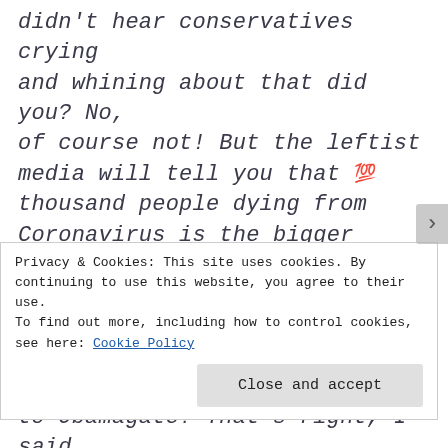didn't hear conservatives crying and whining about that did you? No, of course not! But the leftist media will tell you that 💯 thousand people dying from Coronavirus is the bigger scandal, even though they're fudging the numbers. But it's nothing compared to Obamagate! That's right, I said it! Prove me wrong!
Privacy & Cookies: This site uses cookies. By continuing to use this website, you agree to their use. To find out more, including how to control cookies, see here: Cookie Policy